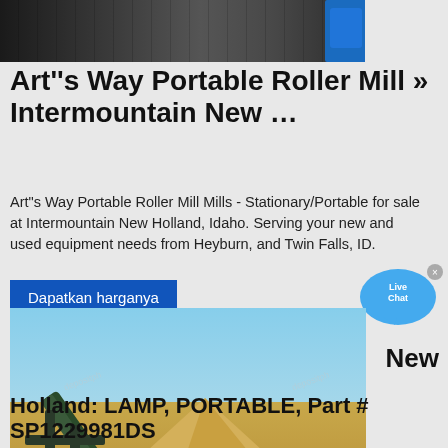[Figure (photo): Partial top photo of industrial equipment (dark/shadowed machinery with blue accent element visible)]
Art''s Way Portable Roller Mill » Intermountain New …
Art"s Way Portable Roller Mill Mills - Stationary/Portable for sale at Intermountain New Holland, Idaho. Serving your new and used equipment needs from Heyburn, and Twin Falls, ID.
[Figure (other): Blue 'Dapatkan harganya' button]
[Figure (other): Live Chat speech bubble icon with 'New' label below]
[Figure (photo): Outdoor photo of a portable conveyor/roller mill machine depositing sand/gravel into a large pile against a blue sky background]
Holland: LAMP, PORTABLE, Part # SP1229981DS